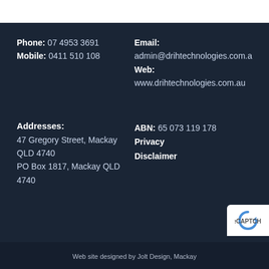Phone: 07 4953 3691
Mobile: 0411 510 108
Email:
admin@drihtechnologies.com.au
Web:
www.drihtechnologies.com.au
Addresses:
47 Gregory Street, Mackay QLD 4740
PO Box 1817, Mackay QLD 4740
ABN: 65 073 119 178
Privacy
Disclaimer
Web site designed by Jolt Design, Mackay